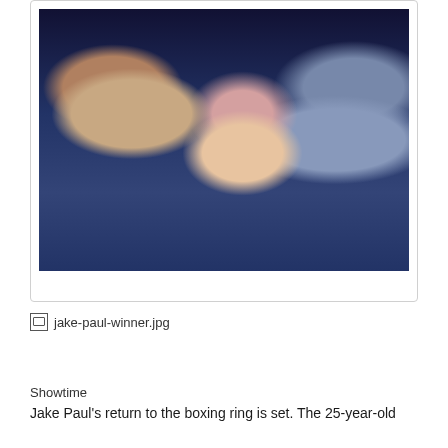[Figure (photo): Boxing scene photo showing a shirtless tattooed boxer, a blonde woman in black, and another person in a blue jacket/shirt, taken at a boxing event with arena lighting]
[Figure (photo): Broken image placeholder showing 'jake-paul-winner.jpg']
Showtime
Jake Paul's return to the boxing ring is set. The 25-year-old